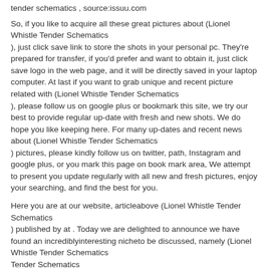tender schematics , source:issuu.com
So, if you like to acquire all these great pictures about (Lionel Whistle Tender Schematics
), just click save link to store the shots in your personal pc. They’re prepared for transfer, if you'd prefer and want to obtain it, just click save logo in the web page, and it will be directly saved in your laptop computer. At last if you want to grab unique and recent picture related with (Lionel Whistle Tender Schematics
), please follow us on google plus or bookmark this site, we try our best to provide regular up-date with fresh and new shots. We do hope you like keeping here. For many up-dates and recent news about (Lionel Whistle Tender Schematics
) pictures, please kindly follow us on twitter, path, Instagram and google plus, or you mark this page on book mark area, We attempt to present you update regularly with all new and fresh pictures, enjoy your searching, and find the best for you.
Here you are at our website, articleabove (Lionel Whistle Tender Schematics
) published by at . Today we are delighted to announce we have found an incrediblyinteresting nicheto be discussed, namely (Lionel Whistle Tender Schematics